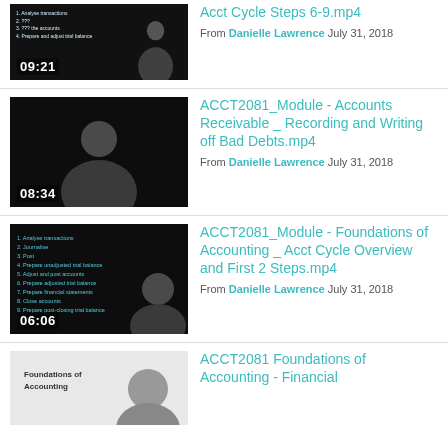Acct Cycle Steps 6-9.mp4 From Danielle Lawrence July 31, 2018 09:21
ACCT2081_Module - Accounts Receivable _ Recording and Writing off Bad Debts.mp4 From Danielle Lawrence July 31, 2018 08:34
ACCT2081_Module - Foundations of Accounting _ Acct Cycle Overview and First 2 Steps.mp4 From Danielle Lawrence July 31, 2018 06:06
ACCT2081 Foundations of Accounting - Financial